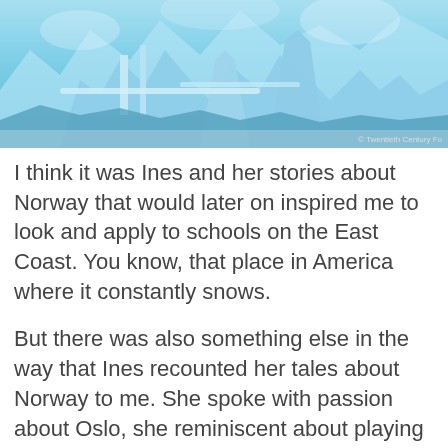[Figure (illustration): A fantasy/sci-fi icy landscape with frozen castle-like structures, bridges, and blue-tinted ice formations. Copyright watermark reads '© Twentieth Century Fo' in bottom right corner.]
I think it was Ines and her stories about Norway that would later on inspired me to look and apply to schools on the East Coast. You know, that place in America where it constantly snows.
But there was also something else in the way that Ines recounted her tales about Norway to me. She spoke with passion about Oslo, she reminiscent about playing in the snow with her younger brother, Alek when they were younger. She told me how funny it was whenever she would throw rocks into the frozen lake outside her house, and listen to the sound the stones